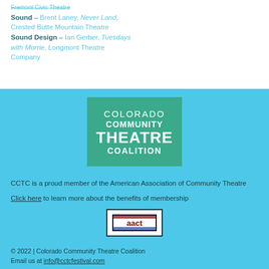Fremont Civic Theatre Sound – Brent Laney, Never Land, Crested Butte Mountain Theatre
Sound Design – Ian Gerber, Tuesdays with Morrie, Longmont Theatre Company
[Figure (logo): Colorado Community Theatre Coalition logo: green rectangle with white text reading COLORADO COMMUNITY THEATRE COALITION]
CCTC is a proud member of the American Association of Community Theatre
Click here to learn more about the benefits of membership
[Figure (logo): AACT logo in a bordered box]
© 2022 | Colorado Community Theatre Coalition Email us at info@cctcfestival.com